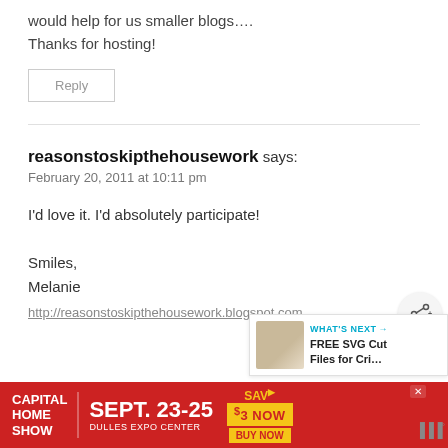would help for us smaller blogs....
Thanks for hosting!
Reply
reasonstoskipthehousework says:
February 20, 2011 at 10:11 pm
I'd love it. I'd absolutely participate!

Smiles,
Melanie
http://reasonstoskipthehousework.blogspot.com
[Figure (other): Share button icon (circular icon with share arrows)]
[Figure (other): What's Next promotional box with image: FREE SVG Cut Files for Cri...]
[Figure (other): Capital Home Show advertisement banner: SEPT. 23-25, DULLES EXPO CENTER, SAV $3 NOW, BUY NOW]